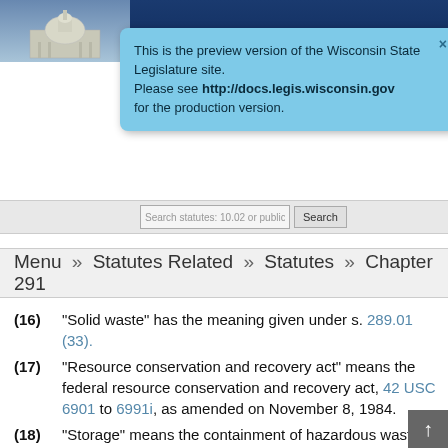[Figure (screenshot): Wisconsin State Legislature website header with capitol building image and HOME navigation]
This is the preview version of the Wisconsin State Legislature site. Please see http://docs.legis.wisconsin.gov for the production version.
Search statutes: 10.02 or public parts  Search
Menu » Statutes Related » Statutes » Chapter 291
(16) "Solid waste" has the meaning given under s. 289.01 (33).
(17) "Resource conservation and recovery act" means the federal resource conservation and recovery act, 42 USC 6901 to 6991i, as amended on November 8, 1984.
(18) "Storage" means the containment of hazardous waste for a temporary period in a manner that does not constitute disposal.
(19) "Termination" has the meaning designated under s. 289.01 (40).
(20) "Transport" means the movement of hazardous wastes by air, rail, highway, water or other means, except for the movement of hazardous waste within the site at which the hazardous waste is generated or within a facility that is licensed under